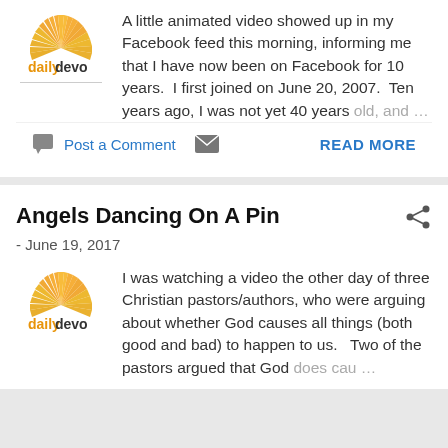[Figure (logo): dailydevo logo — fan-shaped sun icon in gold/orange above the text 'dailydevo']
A little animated video showed up in my Facebook feed this morning, informing me that I have now been on Facebook for 10 years.  I first joined on June 20, 2007.  Ten years ago, I was not yet 40 years old, and ...
Post a Comment   READ MORE
Angels Dancing On A Pin
- June 19, 2017
[Figure (logo): dailydevo logo — fan-shaped sun icon in gold/orange above the text 'dailydevo']
I was watching a video the other day of three Christian pastors/authors, who were arguing about whether God causes all things (both good and bad) to happen to us.   Two of the pastors argued that God does cau ...